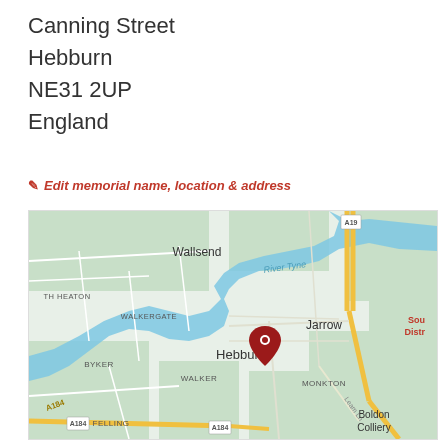Canning Street
Hebburn
NE31 2UP
England
✎ Edit memorial name, location & address
[Figure (map): Google Maps screenshot showing Hebburn, England with a red location pin on Canning Street. Surrounding areas visible include Wallsend, Jarrow, Walker, Byker, TH Heaton, Walkergate, Felling, Monkton, Boldon Colliery, and South District. River Tyne is visible running through the map. Roads A19 and A184 are labeled.]